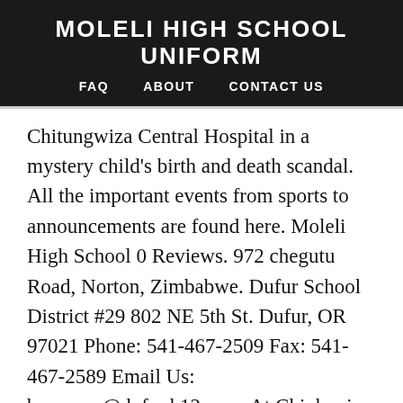MOLELI HIGH SCHOOL UNIFORM
FAQ   ABOUT   CONTACT US
Chitungwiza Central Hospital in a mystery child's birth and death scandal. All the important events from sports to announcements are found here. Moleli High School 0 Reviews. 972 chegutu Road, Norton, Zimbabwe. Dufur School District #29 802 NE 5th St. Dufur, OR 97021 Phone: 541-467-2509 Fax: 541-467-2589 Email Us: beverson@dufur.k12.or.us At Chinhoyi High School a set of girls uniforms that usually costs $180 is going for $290 at the school while uniforms for boys cost $240 at the school, but